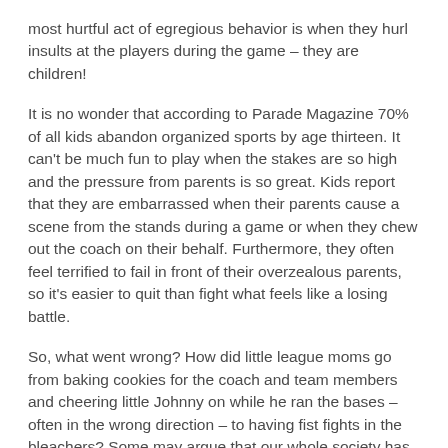most hurtful act of egregious behavior is when they hurl insults at the players during the game – they are children!
It is no wonder that according to Parade Magazine 70% of all kids abandon organized sports by age thirteen. It can't be much fun to play when the stakes are so high and the pressure from parents is so great. Kids report that they are embarrassed when their parents cause a scene from the stands during a game or when they chew out the coach on their behalf. Furthermore, they often feel terrified to fail in front of their overzealous parents, so it's easier to quit than fight what feels like a losing battle.
So, what went wrong? How did little league moms go from baking cookies for the coach and team members and cheering little Johnny on while he ran the bases – often in the wrong direction – to having fist fights in the bleachers? Some may argue that our whole society has become more driven by competition, so it is natural that it has trickled down to parental competition. This is probably true, but some other factors seem to also be at play here.